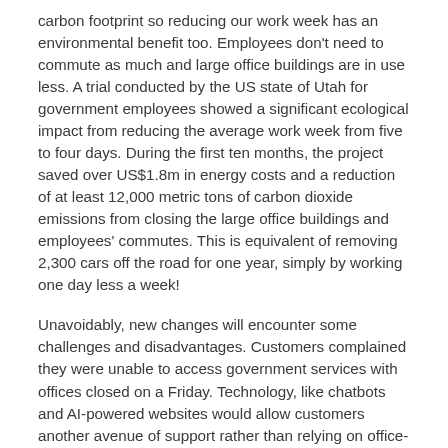carbon footprint so reducing our work week has an environmental benefit too.  Employees don't need to commute as much and large office buildings are in use less.  A trial conducted by the US state of Utah for government employees showed a significant ecological impact from reducing the average work week from five to four days. During the first ten months, the project saved over US$1.8m in energy costs and a reduction of at least 12,000 metric tons of carbon dioxide emissions from closing the large office buildings and employees' commutes. This is equivalent of removing 2,300 cars off the road for one year, simply by working one day less a week!
Unavoidably, new changes will encounter some challenges and disadvantages.  Customers complained they were unable to access government services with offices closed on a Friday.  Technology, like chatbots and AI-powered websites would allow customers another avenue of support rather than relying on office-based staff members.